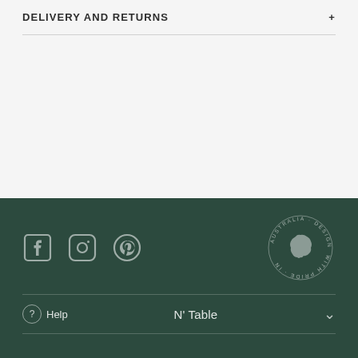DELIVERY AND RETURNS
[Figure (illustration): Delivery truck icon with speed lines]
Free Standard Delivery
For orders over $ 150
[Figure (logo): Social media icons: Facebook, Instagram, Pinterest]
[Figure (illustration): Australia designed with pride circular badge with map of Australia]
Help
N' Table